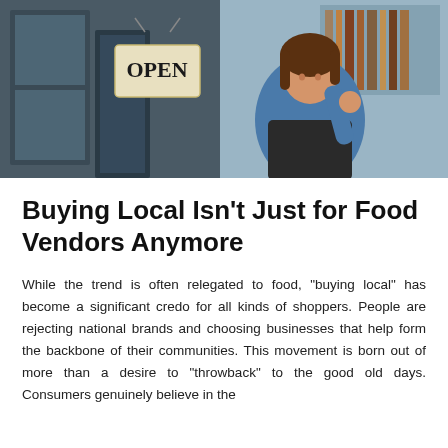[Figure (photo): A smiling woman wearing a blue denim shirt and dark apron stands at the entrance of a shop, holding the door open. An 'OPEN' sign hangs in the foreground window.]
Buying Local Isn't Just for Food Vendors Anymore
While the trend is often relegated to food, "buying local" has become a significant credo for all kinds of shoppers. People are rejecting national brands and choosing businesses that help form the backbone of their communities. This movement is born out of more than a desire to "throwback" to the good old days. Consumers genuinely believe in the